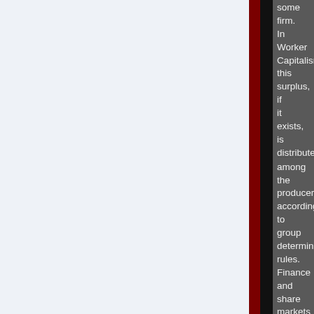some firm. In Worker Capitalism, this surplus, if it exists, is distributed among the producers according to group determined rules. Finance and share markets